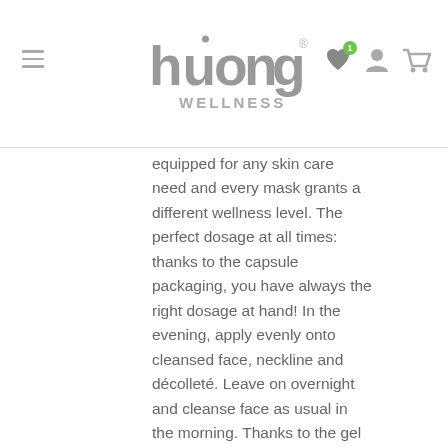Huong Wellness logo with navigation icons
equipped for any skin care need and every mask grants a different wellness level. The perfect dosage at all times: thanks to the capsule packaging, you have always the right dosage at hand! In the evening, apply evenly onto cleansed face, neckline and décolleté. Leave on overnight and cleanse face as usual in the morning. Thanks to the gel consistency, the mask absorbs quickly. For an